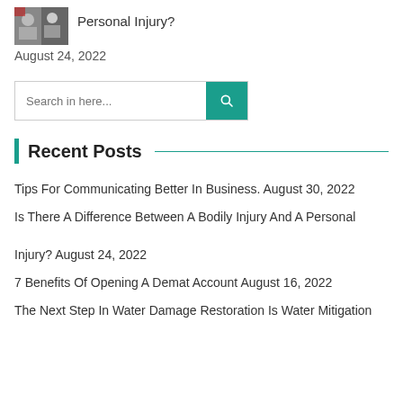[Figure (photo): Small thumbnail photo showing people, possibly in a business or legal setting]
Personal Injury?
August 24, 2022
[Figure (other): Search bar with teal search button and magnifying glass icon, placeholder text: Search in here...]
Recent Posts
Tips For Communicating Better In Business. August 30, 2022
Is There A Difference Between A Bodily Injury And A Personal Injury? August 24, 2022
7 Benefits Of Opening A Demat Account August 16, 2022
The Next Step In Water Damage Restoration Is Water Mitigation